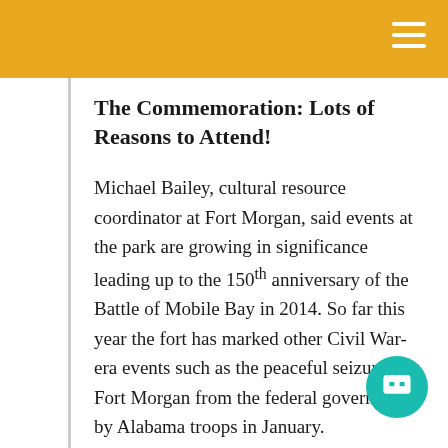The Commemoration: Lots of Reasons to Attend!
Michael Bailey, cultural resource coordinator at Fort Morgan, said events at the park are growing in significance leading up to the 150th anniversary of the Battle of Mobile Bay in 2014. So far this year the fort has marked other Civil War-era events such as the peaceful seizure of Fort Morgan from the federal government by Alabama troops in January.